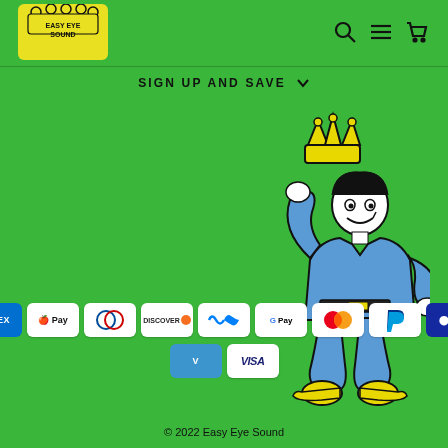[Figure (logo): Easy Eye Sound logo — yellow crown shape with dots, black text EASY EYE SOUND on yellow background]
[Figure (other): Navigation icons: search magnifier, hamburger menu, shopping cart]
SIGN UP AND SAVE
[Figure (illustration): Cartoon mascot character in blue suit holding a yellow crown, with yellow shoes, smiling]
[Figure (other): Payment method icons: AMEX, Apple Pay, Diners Club, Discover, Meta Pay, Google Pay, Mastercard, PayPal, Samsung Pay, Venmo, Visa]
© 2022 Easy Eye Sound